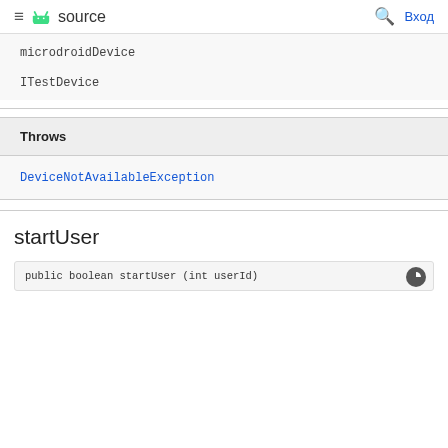≡ android source  🔍 Вход
microdroidDevice
ITestDevice
Throws
DeviceNotAvailableException
startUser
public boolean startUser (int userId)